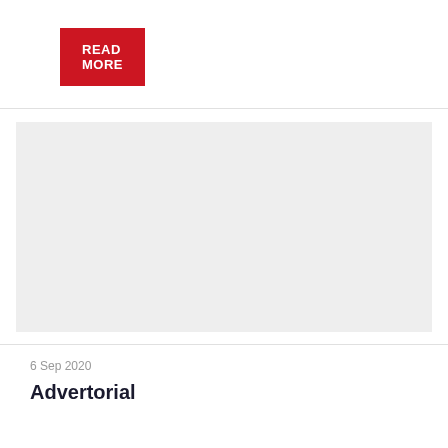READ MORE
[Figure (other): Grey placeholder image area]
6 Sep 2020
Advertorial